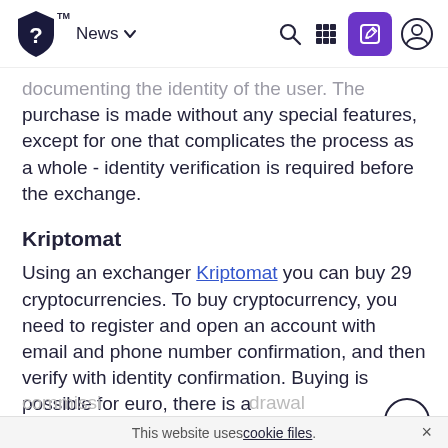News [navigation bar with logo, search, grid, edit, user icons]
documenting the identity of the user. The purchase is made without any special features, except for one that complicates the process as a whole - identity verification is required before the exchange.
Kriptomat
Using an exchanger Kriptomat you can buy 29 cryptocurrencies. To buy cryptocurrency, you need to register and open an account with email and phone number confirmation, and then verify with identity confirmation. Buying is possible for euro, there is a commission ... withdrawal
This website uses cookie files.